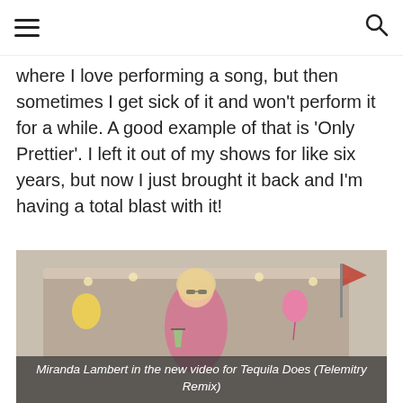≡  🔍
where I love performing a song, but then sometimes I get sick of it and won't perform it for a while. A good example of that is 'Only Prettier'. I left it out of my shows for like six years, but now I just brought it back and I'm having a total blast with it!
[Figure (photo): Miranda Lambert in a pink gingham top holding a drink, standing outdoors with colorful decorations in the background.]
Miranda Lambert in the new video for Tequila Does (Telemitry Remix)